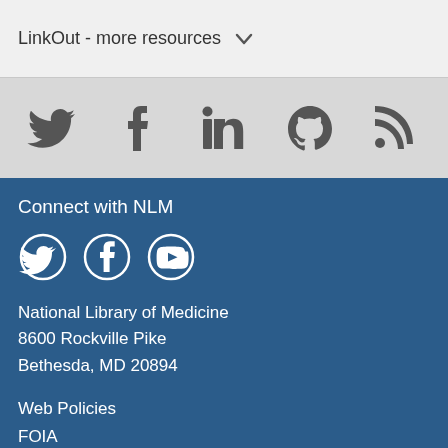LinkOut - more resources ∨
[Figure (illustration): Social media icons row: Twitter, Facebook, LinkedIn, GitHub, RSS feed icons in gray on light gray background]
Connect with NLM
[Figure (illustration): NLM social media icons: Twitter, Facebook, YouTube - white circle outline icons on dark blue background]
National Library of Medicine
8600 Rockville Pike
Bethesda, MD 20894
Web Policies
FOIA
HHS Vulnerability Disclosure
Help
Accessibility